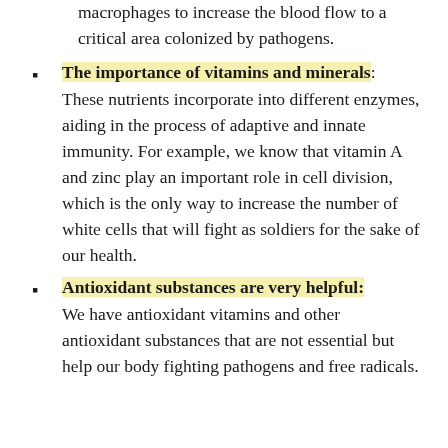macrophages to increase the blood flow to a critical area colonized by pathogens.
The importance of vitamins and minerals: These nutrients incorporate into different enzymes, aiding in the process of adaptive and innate immunity. For example, we know that vitamin A and zinc play an important role in cell division, which is the only way to increase the number of white cells that will fight as soldiers for the sake of our health.
Antioxidant substances are very helpful: We have antioxidant vitamins and other antioxidant substances that are not essential but help our body fighting pathogens and free radicals.